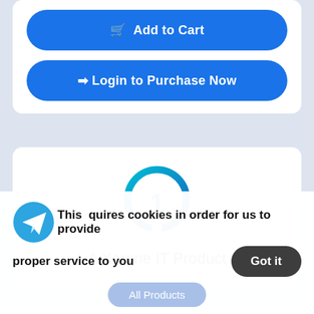Add to Cart
Login to Purchase Now
[Figure (logo): Xerone IT Product logo — circular blue gradient ring with a stylized numeral 1 inside]
A Xerone IT Product
This requires cookies in order for us to provide proper service to you
Got it
All Products